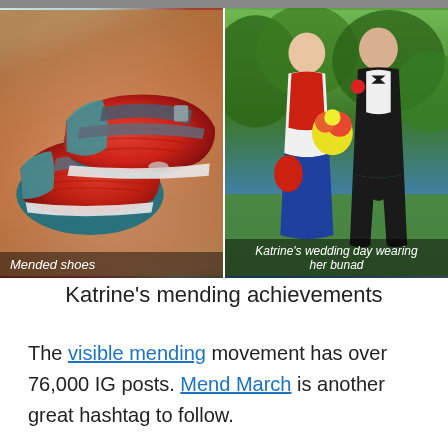[Figure (photo): Two side-by-side photographs. Left: a pair of mended knitted/crocheted shoes in red and teal with grey straps. Caption reads 'Mended shoes'. Right: A couple on a wedding day outdoors, woman wearing Norwegian bunad (traditional costume). Caption reads 'Katrine's wedding day wearing her bunad'.]
Katrine's mending achievements
The visible mending movement has over 76,000 IG posts. Mend March is another great hashtag to follow.